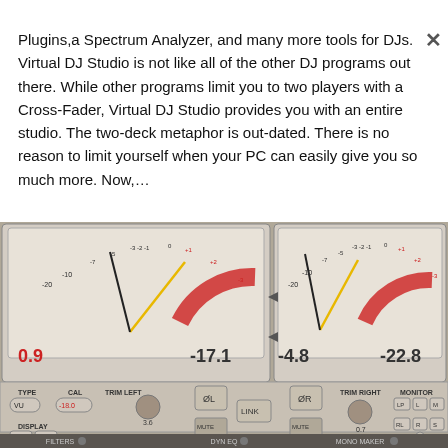Plugins,a Spectrum Analyzer, and many more tools for DJs. Virtual DJ Studio is not like all of the other DJ programs out there. While other programs limit you to two players with a Cross-Fader, Virtual DJ Studio provides you with an entire studio. The two-deck metaphor is out-dated. There is no reason to limit yourself when your PC can easily give you so much more. Now,…
[Figure (screenshot): Screenshot of Virtual DJ Studio software showing two VU meters with readings 0.9 / -17.1 on left panel and -4.8 / -22.8 on right panel, with controls for TYPE, CAL, TRIM LEFT, TRIM RIGHT, MONITOR, DISPLAY, phase buttons, MUTE L/R, LINK, and a bottom bar with FILTERS, DYN EQ, MONO MAKER tabs.]